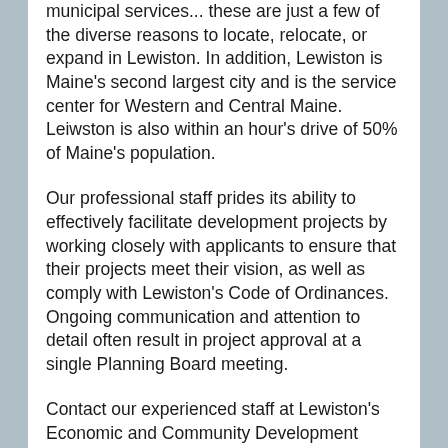municipal services... these are just a few of the diverse reasons to locate, relocate, or expand in Lewiston. In addition, Lewiston is Maine's second largest city and is the service center for Western and Central Maine. Leiwston is also within an hour's drive of 50% of Maine's population.
Our professional staff prides its ability to effectively facilitate development projects by working closely with applicants to ensure that their projects meet their vision, as well as comply with Lewiston's Code of Ordinances. Ongoing communication and attention to detail often result in project approval at a single Planning Board meeting.
Contact our experienced staff at Lewiston's Economic and Community Development Department to become part of our community's ongoing renaissance. Staff